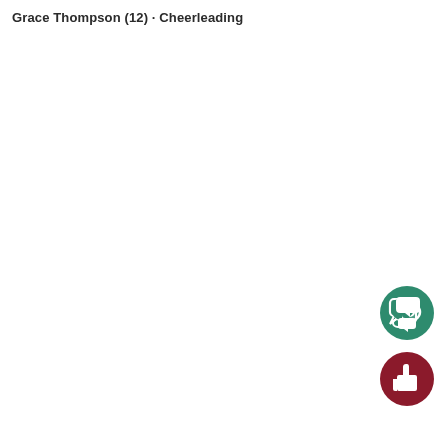Grace Thompson (12) · Cheerleading
[Figure (other): Green circular button with speech bubble / comment icon (white)]
[Figure (other): Dark red circular button with thumbs-up / like icon (white)]